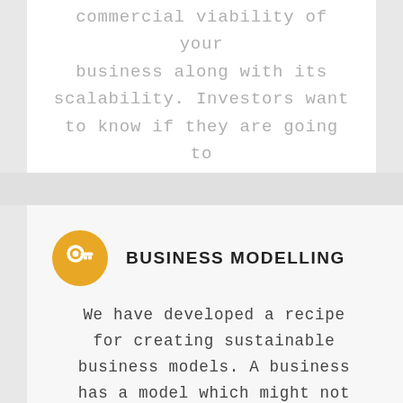commercial viability of your business along with its scalability. Investors want to know if they are going to get a solid return.
[Figure (illustration): Gold/orange circular icon with a key symbol (white key on gold circle)]
BUSINESS MODELLING
We have developed a recipe for creating sustainable business models. A business has a model which might not be seen but it can be felt and visualised. The model demonstrates how the business creates value, sells